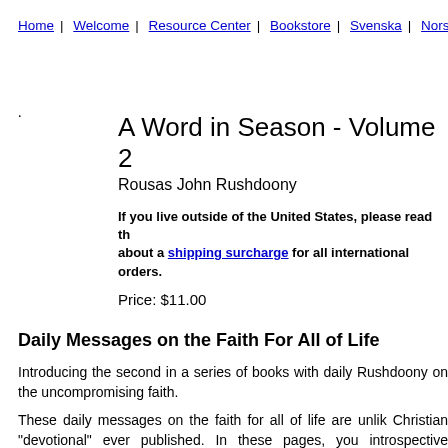Home | Welcome | Resource Center | Bookstore | Svenska | Norsk
A Word in Season - Volume 2
Rousas John Rushdoony
If you live outside of the United States, please read the about a shipping surcharge for all international orders.

Price: $11.00
Daily Messages on the Faith For All of Life
Introducing the second in a series of books with daily Rushdoony on the uncompromising faith.
These daily messages on the faith for all of life are unlike any Christian "devotional" ever published. In these pages, you introspective musings of a Christian pietist; what you'll discov